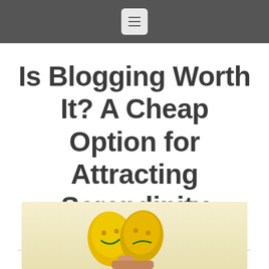☰
Is Blogging Worth It? A Cheap Option for Attracting Serendipity
September 9, 2020 | Richard Meadows
[Figure (photo): Two theatrical comedy/tragedy masks in yellow held by a person's hand against a pale yellow background]